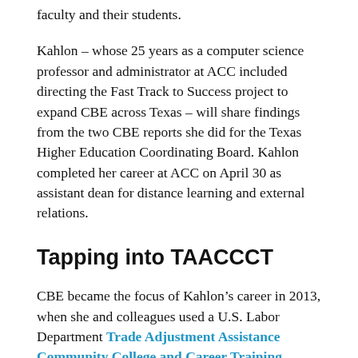faculty and their students.
Kahlon – whose 25 years as a computer science professor and administrator at ACC included directing the Fast Track to Success project to expand CBE across Texas – will share findings from the two CBE reports she did for the Texas Higher Education Coordinating Board. Kahlon completed her career at ACC on April 30 as assistant dean for distance learning and external relations.
Tapping into TAACCCT
CBE became the focus of Kahlon’s career in 2013, when she and colleagues used a U.S. Labor Department Trade Adjustment Assistance Community College and Career Training (TAACCCT) grant to convert 25 courses for competency-based delivery